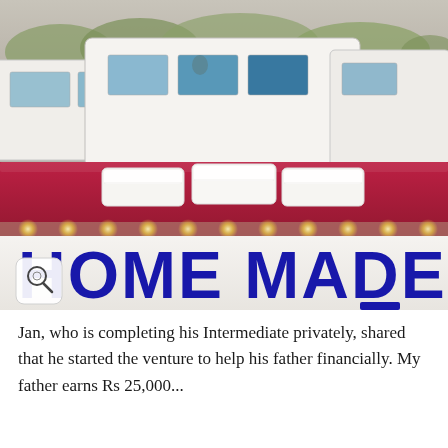[Figure (photo): Photo of a red car rooftop with three white foam food containers placed on it, with a handmade sign reading 'HOME MADE' in large blue letters on white cardboard below, visible string lights/LEDs along the car, and white vans/traffic visible in the background street scene.]
Jan, who is completing his Intermediate privately, shared that he started the venture to help his father financially. My father earns Rs 25,000...